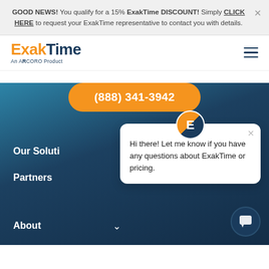GOOD NEWS! You qualify for a 15% ExakTime DISCOUNT! Simply CLICK HERE to request your ExakTime representative to contact you with details.
[Figure (logo): ExakTime logo - orange 'Exak' and dark blue 'Time' text with 'An ARCORO Product' subtitle]
(888) 341-3942
Our Soluti
Partners
[Figure (screenshot): Chat popup bubble with 'E' avatar: 'Hi there! Let me know if you have any questions about ExakTime or pricing.']
About
[Figure (other): Chat widget button at bottom right]